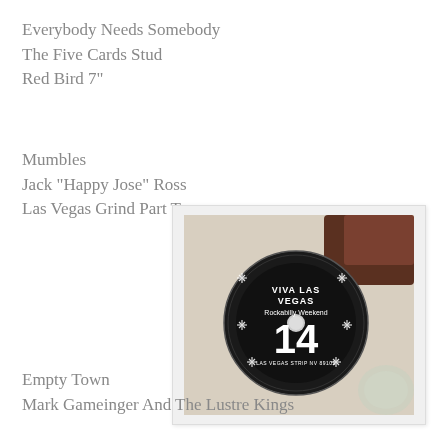Everybody Needs Somebody
The Five Cards Stud
Red Bird 7"
Mumbles
Jack "Happy Jose" Ross
Las Vegas Grind Part Two
[Figure (photo): A photo of a black CD/DVD disc with 'Viva Las Vegas Rockabilly Weekend 14' label on it, sitting on a white surface inside a CD case. The label features starburst designs and the number 14 prominently displayed.]
Empty Town
Mark Gameinger And The Lustre Kings